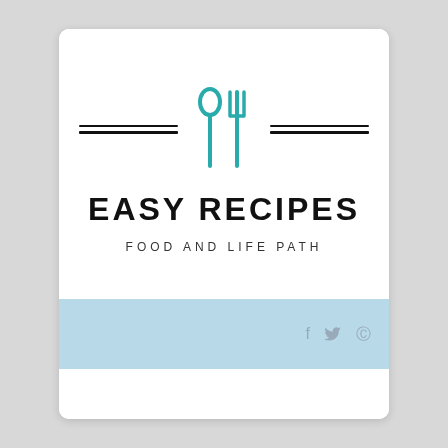[Figure (logo): Spoon and fork icons in teal color with double horizontal lines on each side]
EASY RECIPES
FOOD AND LIFE PATH
[Figure (other): Light blue banner with social media icons: f (Facebook), bird (Twitter), p (Pinterest) in grey]